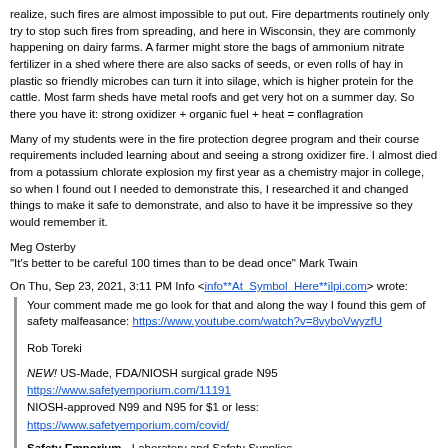realize, such fires are almost impossible to put out.  Fire departments routinely only try to stop such fires from spreading, and here in Wisconsin, they are commonly happening on dairy farms.  A farmer might store the bags of ammonium nitrate fertilizer in a shed where there are also sacks of seeds, or even rolls of hay in plastic so friendly microbes can turn it into silage, which is higher protein for the cattle.  Most farm sheds have metal roofs and get very hot on a summer day.  So there you have it: strong oxidizer + organic fuel + heat = conflagration
Many of my students were in the fire protection degree program and their course requirements included learning about and seeing a strong oxidizer fire.  I almost died from a potassium chlorate explosion my first year as a chemistry major in college, so when I found out I needed to demonstrate this, I researched it and changed things to make it safe to demonstrate, and also to have it be impressive so they would remember it.
Meg Osterby
"It's better to be careful 100 times than to be dead once" Mark Twain
On Thu, Sep 23, 2021, 3:11 PM Info <info**At_Symbol_Here**ilpi.com> wrote:
Your comment made me go look for that and along the way I found this gem of safety malfeasance: https://www.youtube.com/watch?v=8vyboVwyzfU
Rob Toreki
NEW! US-Made, FDA/NIOSH surgical grade N95 https://www.safetyemporium.com/11191
NIOSH-approved N99 and N95 for $1 or less: https://www.safetyemporium.com/covid/
Safety Emporium - Laboratory and Safety Supplies
https://www.SafetyEmporium.com
esales**At_Symbol_Here**safetyemporium.com, or toll free: (866) 326-5412